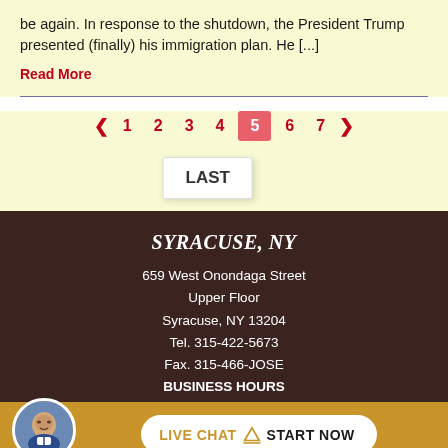be again. In response to the shutdown, the President Trump presented (finally) his immigration plan. He [...]
Read More
[Figure (screenshot): Pagination control showing pages 1-7 with page 5 highlighted in red/pink, and a LAST tooltip below]
SYRACUSE, NY
659 West Onondaga Street
Upper Floor
Syracuse, NY 13204
Tel. 315-422-5673
Fax. 315-466-JOSE
BUSINESS HOURS
[Figure (photo): Circular avatar photo of a man in a suit smiling]
LIVE CHAT  START NOW